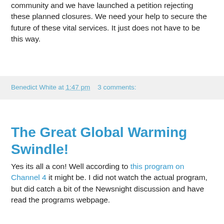community and we have launched a petition rejecting these planned closures. We need your help to secure the future of these vital services. It just does not have to be this way.
Benedict White at 1:47 pm   3 comments:
The Great Global Warming Swindle!
Yes its all a con! Well according to this program on Channel 4 it might be. I did not watch the actual program, but did catch a bit of the Newsnight discussion and have read the programs webpage.
The program lays out its arguments here.
I will make the following observations.
The program claims, here:
There is some evidence to suggest that the rise in carbon dioxide lags behind the temperature